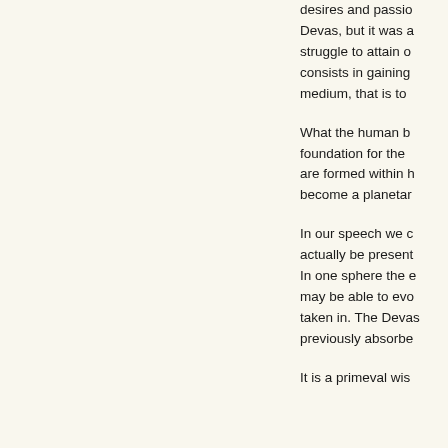desires and passions of the Devas, but it was a struggle to attain consists in gaining medium, that is to
What the human be foundation for the are formed within b become a planetar
In our speech we c actually be present In one sphere the e may be able to evo taken in. The Devas previously absorbe
It is a primeval wis